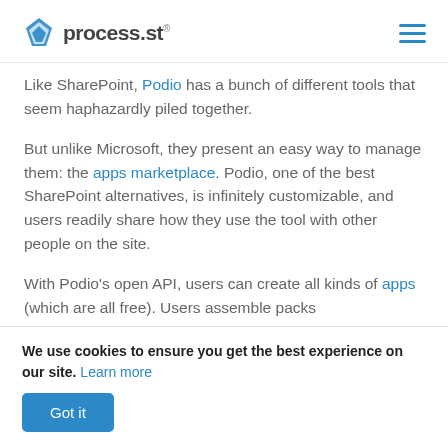process.st
Like SharePoint, Podio has a bunch of different tools that seem haphazardly piled together.
But unlike Microsoft, they present an easy way to manage them: the apps marketplace. Podio, one of the best SharePoint alternatives, is infinitely customizable, and users readily share how they use the tool with other people on the site.
With Podio's open API, users can create all kinds of apps (which are all free). Users assemble packs
We use cookies to ensure you get the best experience on our site. Learn more
Got it